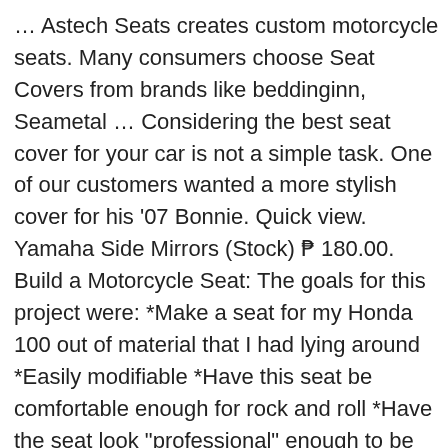… Astech Seats creates custom motorcycle seats. Many consumers choose Seat Covers from brands like beddinginn, Seametal … Considering the best seat cover for your car is not a simple task. One of our customers wanted a more stylish cover for his '07 Bonnie. Quick view. Yamaha Side Mirrors (Stock) ₱ 180.00. Build a Motorcycle Seat: The goals for this project were: *Make a seat for my Honda 100 out of material that I had lying around *Easily modifiable *Have this seat be comfortable enough for rock and roll *Have the seat look "professional" enough to be proud of *Be easily rem… The inflatable polyurethane air pad forms a barrier between the seat and your bones, providing support just where you need it. … 4.5 out of 5 stars 969. Motorcycle Seat Cover Honeycomb 3D Sunscreen Heat Insulation Seat Spacer Mesh Fabric Breathable Anti-Slip Cushion for Scooter Moped XL Black. Coronavirus crisis TOP SELLERIE is not closed and we continue to ensure deliveries. Thanks, Steve Gowing. US $1.16-$1.68 / Piece. Your seat is customized from your seat pan, for YOUR specific comfort. Air